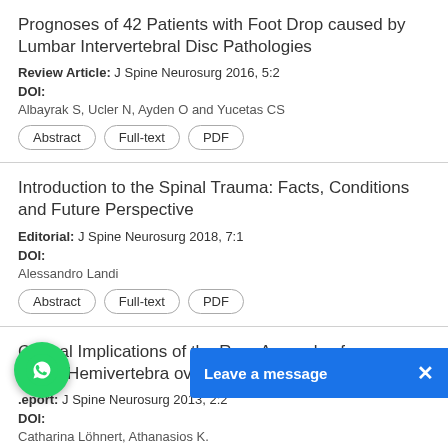Prognoses of 42 Patients with Foot Drop caused by Lumbar Intervertebral Disc Pathologies
Review Article: J Spine Neurosurg 2016, 5:2
DOI:
Albayrak S, Ucler N, Ayden O and Yucetas CS
Abstract | Full-text | PDF
Introduction to the Spinal Trauma: Facts, Conditions and Future Perspective
Editorial: J Spine Neurosurg 2018, 7:1
DOI:
Alessandro Landi
Abstract | Full-text | PDF
Clinical Implications of the Rare Anomaly of a ical Hemivertebra over a Period of 30 Year
.eport: J Spine Neurosurg 2013, 2:2
DOI:
Catharina Löhnert, Athanasios K.
[Figure (screenshot): WhatsApp floating button and Leave a message bar overlay]